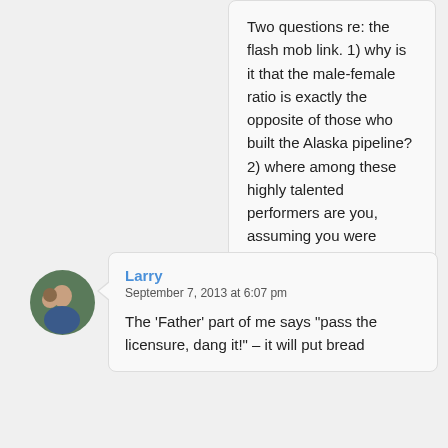Two questions re: the flash mob link. 1) why is it that the male-female ratio is exactly the opposite of those who built the Alaska pipeline? 2) where among these highly talented performers are you, assuming you were flashmobbing and not filming?
★ Like
Reply
Larry
September 7, 2013 at 6:07 pm
The 'Father' part of me says "pass the licensure, dang it!" – it will put bread